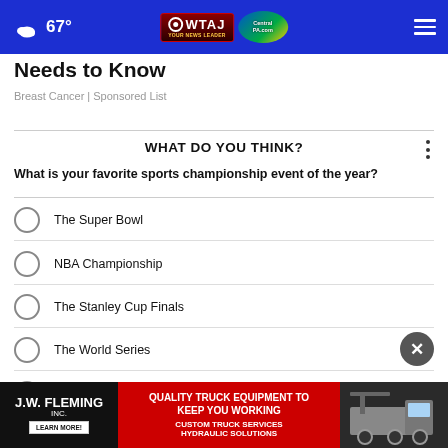67° WTAJ CentralPA.com
Needs to Know
Breast Cancer | Sponsored List
WHAT DO YOU THINK?
What is your favorite sports championship event of the year?
The Super Bowl
NBA Championship
The Stanley Cup Finals
The World Series
Other
[Figure (screenshot): JW Fleming Inc. advertisement banner: Quality Truck Equipment to Keep You Working, Custom Truck Services, Hydraulic Solutions, Learn More button, truck image on right]
JW FLEMING INC. | QUALITY TRUCK EQUIPMENT TO KEEP YOU WORKING | CUSTOM TRUCK SERVICES | HYDRAULIC SOLUTIONS | LEARN MORE!